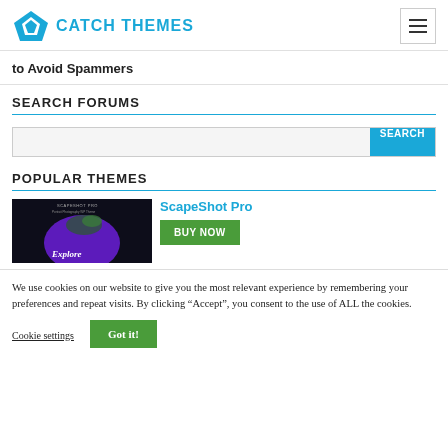Catch Themes
to Avoid Spammers
SEARCH FORUMS
[Figure (screenshot): Search bar with a teal SEARCH button on the right]
POPULAR THEMES
[Figure (screenshot): ScapeShot Pro theme preview with hummingbird and Explore text]
ScapeShot Pro
BUY NOW
We use cookies on our website to give you the most relevant experience by remembering your preferences and repeat visits. By clicking “Accept”, you consent to the use of ALL the cookies.
Cookie settings
Got it!